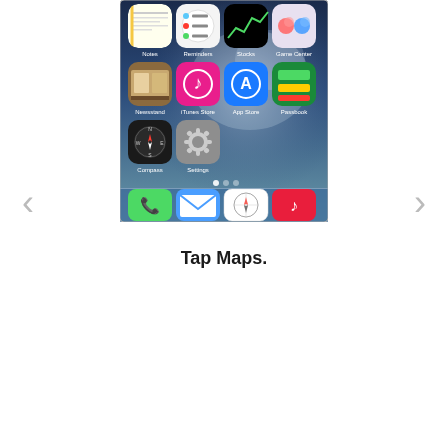[Figure (screenshot): iPhone home screen showing iOS 7 app icons including Notes, Reminders, Stocks, Game Center, Newsstand, iTunes Store, App Store, Passbook, Compass, Settings, and dock with Phone, Mail, Safari, Music apps]
Tap Maps.